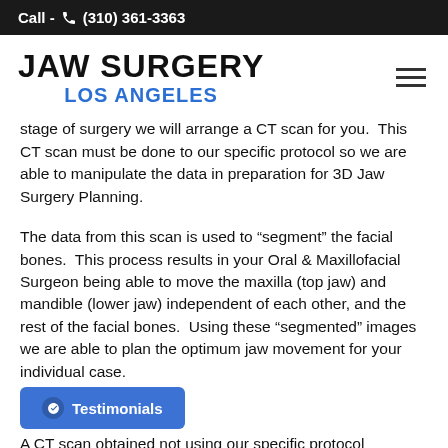Call - (310) 361-3363
JAW SURGERY
LOS ANGELES
stage of surgery we will arrange a CT scan for you.  This CT scan must be done to our specific protocol so we are able to manipulate the data in preparation for 3D Jaw Surgery Planning.
The data from this scan is used to “segment” the facial bones.  This process results in your Oral & Maxillofacial Surgeon being able to move the maxilla (top jaw) and mandible (lower jaw) independent of each other, and the rest of the facial bones.  Using these “segmented” images we are able to plan the optimum jaw movement for your individual case.
A CT scan obtained not using our specific protocol